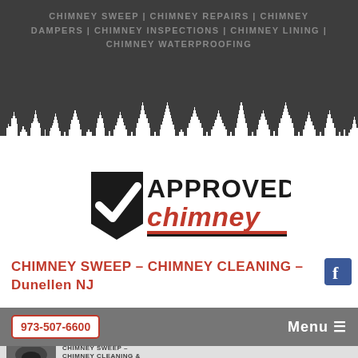CHIMNEY SWEEP | CHIMNEY REPAIRS | CHIMNEY DAMPERS | CHIMNEY INSPECTIONS | CHIMNEY LINING | CHIMNEY WATERPROOFING
[Figure (illustration): Cityscape skyline silhouette with chimney stacks in white against dark background]
[Figure (logo): Approved Chimney logo with black checkmark and red chimney text]
CHIMNEY SWEEP – CHIMNEY CLEANING – Dunellen NJ
[Figure (logo): Facebook icon button]
973-507-6600
Menu ≡
[Figure (photo): Dark interior view of a chimney flue]
CHIMNEY SWEEP – CHIMNEY CLEANING &